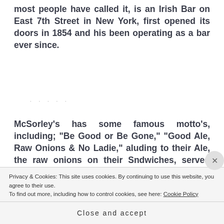most people have called it, is an Irish Bar on East 7th Street in New York, first opened its doors in 1854 and his been operating as a bar ever since.
McSorley's has some famous motto's, including; “Be Good or Be Gone,” “Good Ale, Raw Onions & No Ladie,” aluding to their Ale, the raw onions on their Sndwiches, served with Irish Custard
Privacy & Cookies: This site uses cookies. By continuing to use this website, you agree to their use.
To find out more, including how to control cookies, see here: Cookie Policy
Close and accept